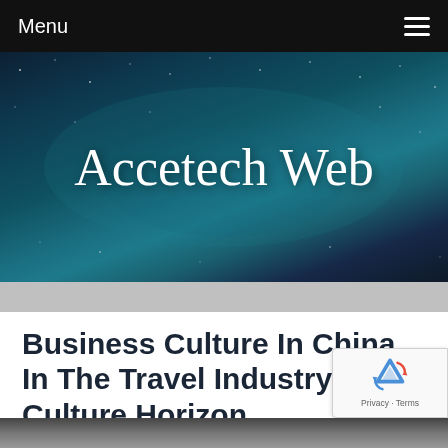Menu
[Figure (illustration): Website banner with deep space / starfield background in dark teal and blue tones with script text 'Accetech Web' in white cursive font centered on the banner]
Business Culture In China In The Travel Industry - Culture Horizon
June 15, 2018
[Figure (photo): Partial bottom image strip showing a cropped photograph, content partially visible]